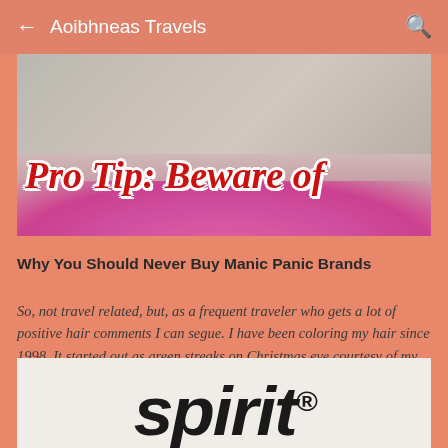← Aoibhneas Travels 🔍
[Figure (photo): Blog post hero image showing a person with pink hair in front of stone building with overlay text 'Pro Tip: Beware of' in red italic serif font]
Why You Should Never Buy Manic Panic Brands
So, not travel related, but, as a frequent traveler who gets a lot of positive hair comments I can segue. I have been coloring my hair since 1998. It started out as green streaks on Christmas eve courtesy of my mom. Fast forward, I've been various shades o…
[Figure (logo): Spirit Airlines logo showing the word 'spirit' in large bold black italic font with registered trademark symbol]